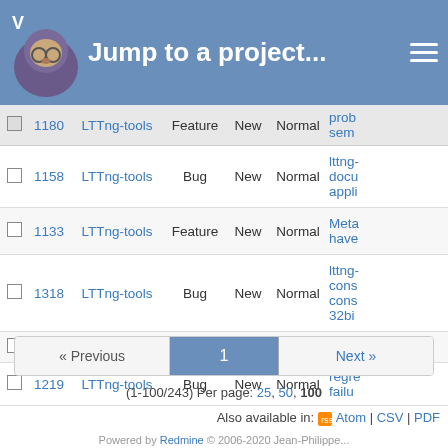Jump to a project...
|  | # | Project | Tracker | Status | Priority | Subject |
| --- | --- | --- | --- | --- | --- | --- |
|  | 1180 | LTTng-tools | Feature | New | Normal | prob sem |
|  | 1158 | LTTng-tools | Bug | New | Normal | lttng-docu appl |
|  | 1133 | LTTng-tools | Feature | New | Normal | Meta have |
|  | 1318 | LTTng-tools | Bug | New | Normal | lttng- cons cons 32bi |
|  | 1305 | LTTng | Bug | New | Normal | Kern |
|  | 1219 | LTTng-tools | Bug | New | Normal | regre failu |
« Previous  1  Next »
(1-100/243) Per page: 25, 50, 100
Also available in: Atom | CSV | PDF